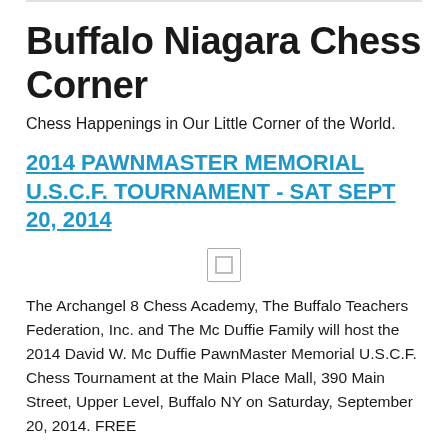Buffalo Niagara Chess Corner
Chess Happenings in Our Little Corner of the World.
2014 PAWNMASTER MEMORIAL U.S.C.F. TOURNAMENT - SAT SEPT 20, 2014
[Figure (other): Small placeholder image icon]
The Archangel 8 Chess Academy, The Buffalo Teachers Federation, Inc. and The Mc Duffie Family will host the 2014 David W. Mc Duffie PawnMaster Memorial U.S.C.F. Chess Tournament at the Main Place Mall, 390 Main Street, Upper Level, Buffalo NY on Saturday, September 20, 2014. FREE